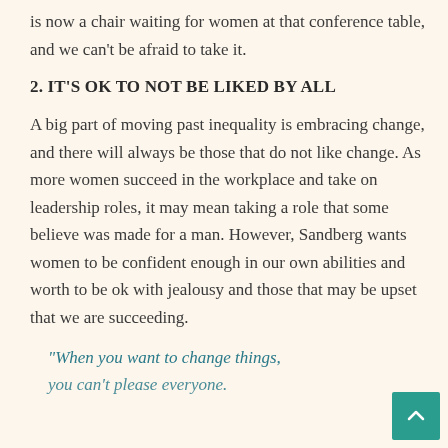is now a chair waiting for women at that conference table, and we can't be afraid to take it.
2. IT'S OK TO NOT BE LIKED BY ALL
A big part of moving past inequality is embracing change, and there will always be those that do not like change. As more women succeed in the workplace and take on leadership roles, it may mean taking a role that some believe was made for a man. However, Sandberg wants women to be confident enough in our own abilities and worth to be ok with jealousy and those that may be upset that we are succeeding.
“When you want to change things, you can’t please everyone.